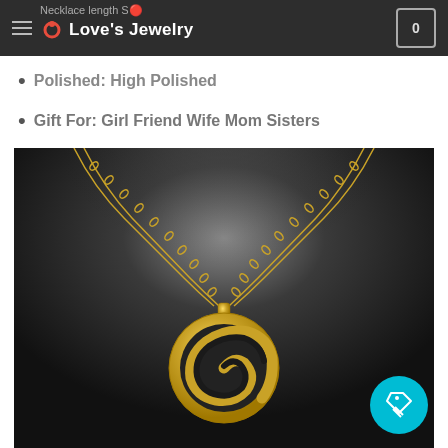Love's Jewelry
Polished: High Polished
Gift For: Girl Friend Wife Mom Sisters
[Figure (photo): Gold spiral/swirl pendant necklace with chain on dark background with light beam effect. A price tag icon button is overlaid in the bottom right corner.]